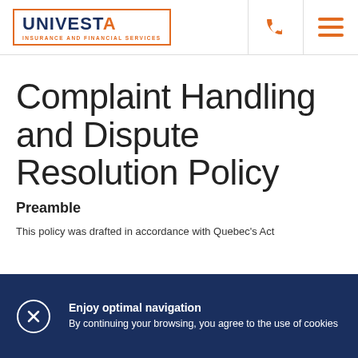[Figure (logo): Univesta Insurance and Financial Services logo — orange rectangle border, dark blue text 'UNIVESTA' with orange 'A', orange subtitle text 'INSURANCE AND FINANCIAL SERVICES']
Complaint Handling and Dispute Resolution Policy
Preamble
This policy was drafted in accordance with Quebec's Act
Enjoy optimal navigation
By continuing your browsing, you agree to the use of cookies